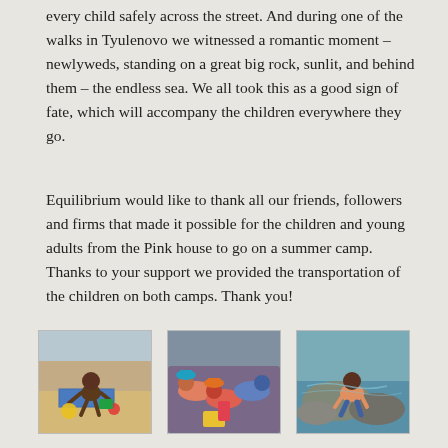every child safely across the street. And during one of the walks in Tyulenovo we witnessed a romantic moment – newlyweds, standing on a great big rock, sunlit, and behind them – the endless sea. We all took this as a good sign of fate, which will accompany the children everywhere they go.
Equilibrium would like to thank all our friends, followers and firms that made it possible for the children and young adults from the Pink house to go on a summer camp. Thanks to your support we provided the transportation of the children on both camps. Thank you!
[Figure (photo): Child sitting on beach with colorful items, outdoor summer camp scene]
[Figure (photo): Children lying together wearing colorful hats, summer camp scene]
[Figure (photo): Child crouching near water on rocks, outdoor summer scene]